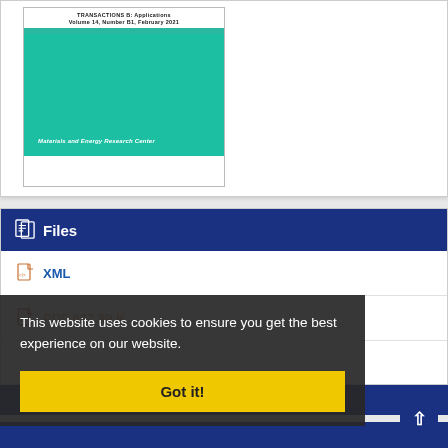[Figure (screenshot): Journal cover image for TRANSACTIONS B: Applications, Volume 14, Number B1, February 2021. Cover features white header with journal title and a large teal/turquoise colored block with text 'Materials and Energy Research Center' in italic white.]
Files
XML
PDF 637.89 K
This website uses cookies to ensure you get the best experience on our website.
Got it!
How to cite